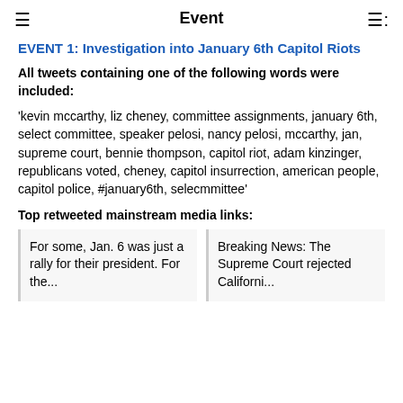Event
EVENT 1: Investigation into January 6th Capitol Riots
All tweets containing one of the following words were included:
'kevin mccarthy, liz cheney, committee assignments, january 6th, select committee, speaker pelosi, nancy pelosi, mccarthy, jan, supreme court, bennie thompson, capitol riot, adam kinzinger, republicans voted, cheney, capitol insurrection, american people, capitol police, #january6th, selecmmittee'
Top retweeted mainstream media links:
For some, Jan. 6 was just a rally for their...
Breaking News: The Supreme Court...